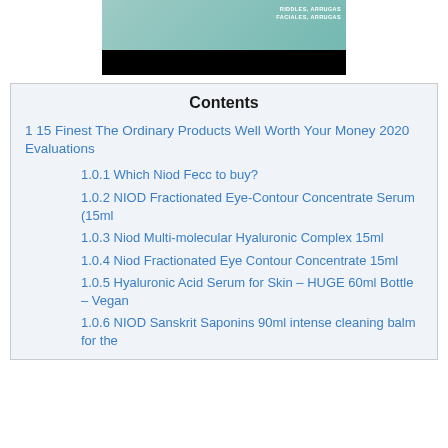[Figure (photo): Partial product image with teal/green background and black bar at bottom with text overlay reading 'RIDDLES, ARRUGAS FACIALES, ARRUGAS']
Contents
1 15 Finest The Ordinary Products Well Worth Your Money 2020 Evaluations
1.0.1 Which Niod Fecc to buy?
1.0.2 NIOD Fractionated Eye-Contour Concentrate Serum (15ml
1.0.3 Niod Multi-molecular Hyaluronic Complex 15ml
1.0.4 Niod Fractionated Eye Contour Concentrate 15ml
1.0.5 Hyaluronic Acid Serum for Skin – HUGE 60ml Bottle – Vegan
1.0.6 NIOD Sanskrit Saponins 90ml intense cleaning balm for the